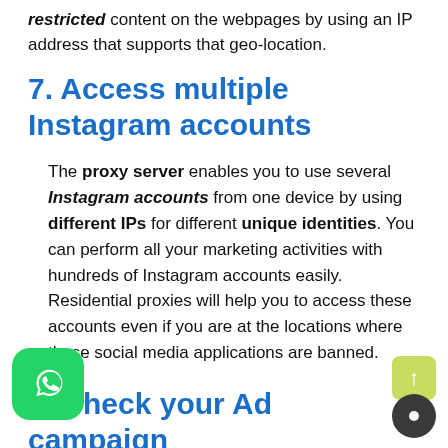restricted content on the webpages by using an IP address that supports that geo-location.
7. Access multiple Instagram accounts
The proxy server enables you to use several Instagram accounts from one device by using different IPs for different unique identities. You can perform all your marketing activities with hundreds of Instagram accounts easily. Residential proxies will help you to access these accounts even if you are at the locations where these social media applications are banned.
8. Check your Ad campaign
you launch your Ad campaigns at different locations and you want to check how these Ads